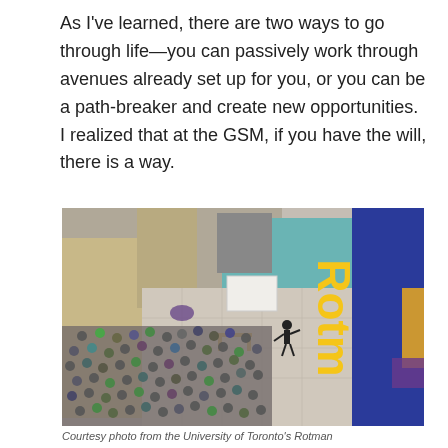As I've learned, there are two ways to go through life—you can passively work through avenues already set up for you, or you can be a path-breaker and create new opportunities. I realized that at the GSM, if you have the will, there is a way.
[Figure (photo): Aerial/overhead view of a Rotman School of Management event hall with a large audience seated, a speaker at the front, and a prominent blue and gold Rotman banner hanging vertically.]
Courtesy photo from the University of Toronto's Rotman